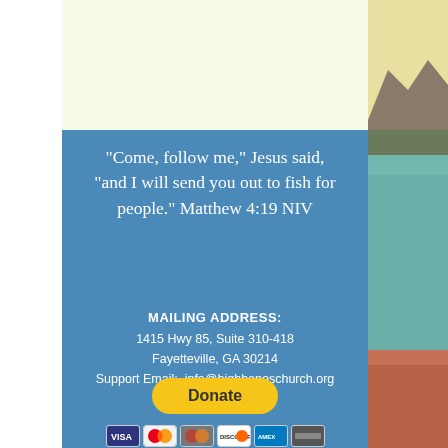[Figure (illustration): Top cream/yellow background area above the blue section]
"Come, follow me," Jesus said, "and I will send you out to fish for people." Matthew 4:19 NIV
MAILING ADDRESS:
1415 Hwy 85, Suite 310-418
Fayetteville, GA 30214
Support Email:  info@highhopeschurch.org
[Figure (infographic): Donate button (yellow/gold rounded rectangle) and payment card icons (Visa, Mastercard, Discover, Amex, etc.)]
[Figure (photo): Right side photo strip showing an outdoor lake/mountain scene with warm tones and a red boat at the bottom]